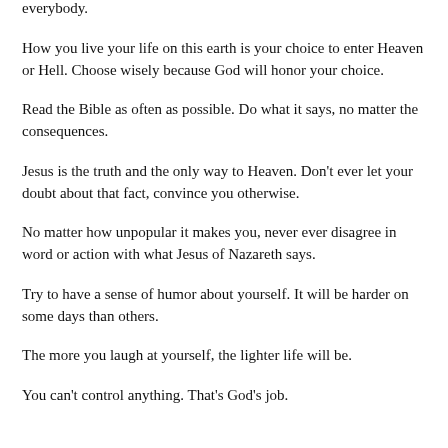everybody.
How you live your life on this earth is your choice to enter Heaven or Hell. Choose wisely because God will honor your choice.
Read the Bible as often as possible. Do what it says, no matter the consequences.
Jesus is the truth and the only way to Heaven. Don't ever let your doubt about that fact, convince you otherwise.
No matter how unpopular it makes you, never ever disagree in word or action with what Jesus of Nazareth says.
Try to have a sense of humor about yourself. It will be harder on some days than others.
The more you laugh at yourself, the lighter life will be.
You can't control anything. That's God's job.